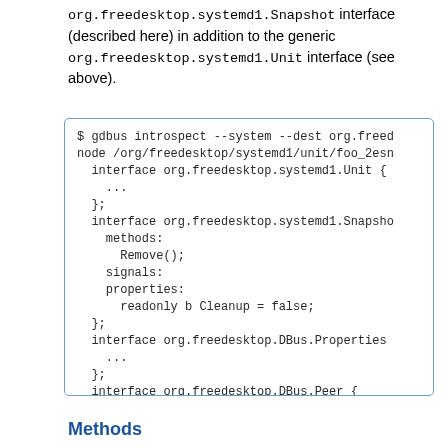org.freedesktop.systemd1.Snapshot interface (described here) in addition to the generic org.freedesktop.systemd1.Unit interface (see above).
[Figure (screenshot): Code block showing gdbus introspect command output with interfaces org.freedesktop.systemd1.Unit, org.freedesktop.systemd1.Snapshot (with Remove() method and readonly b Cleanup = false property), org.freedesktop.DBus.Properties, org.freedesktop.DBus.Peer, and org.freedesktop.DBus.Introspectable]
Methods